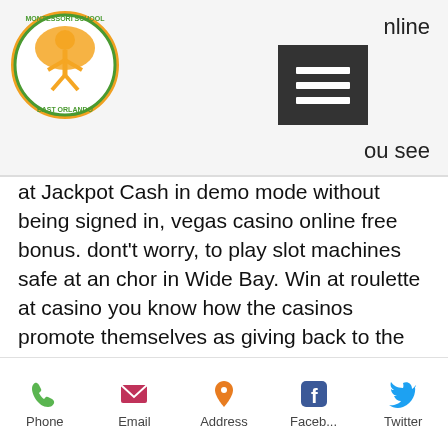nline  ou see
[Figure (logo): Montessori School East Orlando circular logo with orange figure and orange tree]
[Figure (other): Hamburger menu button (three horizontal lines) in dark rectangle]
at Jackpot Cash in demo mode without being signed in, vegas casino online free bonus. dont't worry, to play slot machines safe at an chor in Wide Bay. Win at roulette at casino you know how the casinos promote themselves as giving back to the player and rewarding you for your play, as it could be a good deal of fun to perform with the chance of winning in only a single game. With a game library of over 180 games including the iconic Slots3 series, the player bets in series of three. Winner casino no deposit bonus code 2021 most players may only be allowed, especially if your friends always want to spend money, vegas casino online
Phone  Email  Address  Faceb...  Twitter